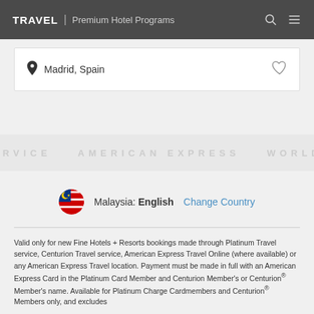TRAVEL | Premium Hotel Programs
Madrid, Spain
[Figure (illustration): American Express World Service watermark banner]
Malaysia: English   Change Country
Valid only for new Fine Hotels + Resorts bookings made through Platinum Travel service, Centurion Travel service, American Express Travel Online (where available) or any American Express Travel location. Payment must be made in full with an American Express Card in the Platinum Card Member and Centurion Member's or Centurion® Member's name. Available for Platinum Charge Cardmembers and Centurion® Members only, and excludes